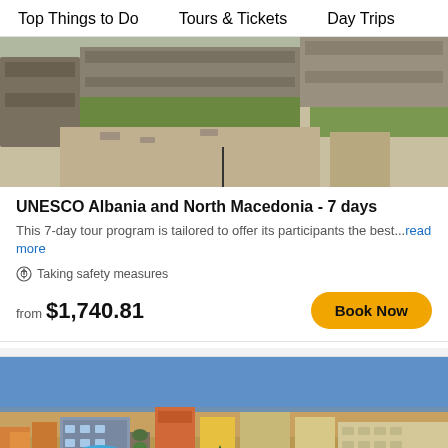Top Things to Do   Tours & Tickets   Day Trips
[Figure (photo): Ancient ruins site with stone walls and gravel courtyard, green grass in background]
UNESCO Albania and North Macedonia - 7 days
This 7-day tour program is tailored to offer its participants the best...read more
Taking safety measures
from $1,740.81
[Figure (photo): Aerial panoramic view of a colorful city with many buildings, streets and a central square]